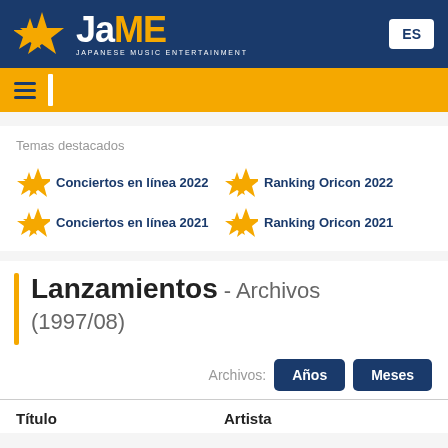JaME - Japanese Music Entertainment
Temas destacados
Conciertos en línea 2022
Ranking Oricon 2022
Conciertos en línea 2021
Ranking Oricon 2021
Lanzamientos - Archivos (1997/08)
Archivos: Años Meses
| Título | Artista |
| --- | --- |